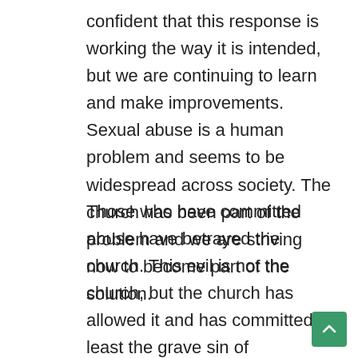confident that this response is working the way it is intended, but we are continuing to learn and make improvements. Sexual abuse is a human problem and seems to be widespread across society. The church has been part of the problem and we are striving now to become part of the solution.
Those who have committed abuse have betrayed the church. This evil is not the church, but the church has allowed it and has committed at least the grave sin of negligence. This is what we must repent about and be ever more vigilant so that this does not happen again.